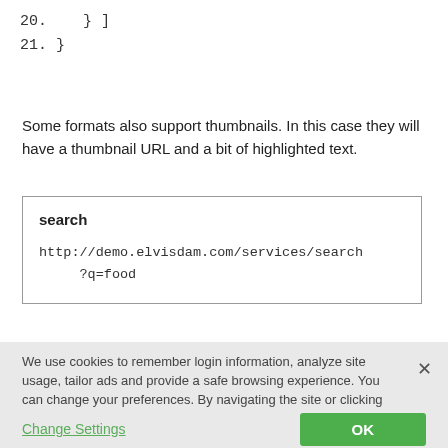20.    } ]
21. }
Some formats also support thumbnails. In this case they will have a thumbnail URL and a bit of highlighted text.
[Figure (screenshot): Code/search box showing: search title in bold, then URL http://demo.elvisdam.com/services/search?q=food in monospace font, inside a bordered box]
We use cookies to remember login information, analyze site usage, tailor ads and provide a safe browsing experience. You can change your preferences. By navigating the site or clicking "OK" you agree to the use of cookies. WoodWing's Privacy Policy
Change Settings
OK